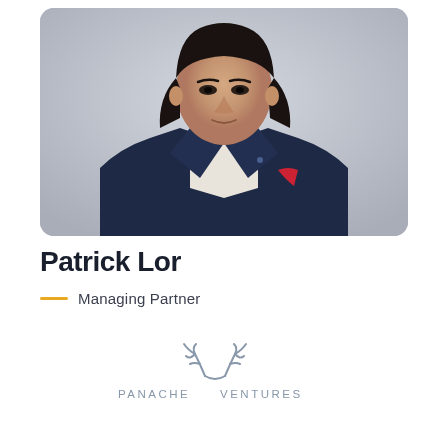[Figure (photo): Professional headshot of Patrick Lor, a man with long dark hair wearing a dark navy blazer and white open-collar shirt, with a red pocket square. Bokeh background.]
Patrick Lor
Managing Partner
[Figure (logo): Panache Ventures logo: antler/deer antler illustration above the text PANACHE VENTURES in light blue/grey capital letters]